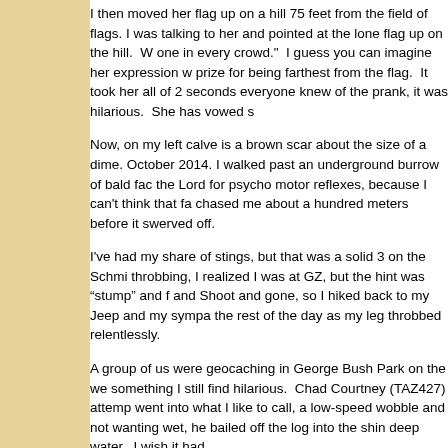I then moved her flag up on a hill 75 feet from the field of flags. I was talking to her and pointed at the lone flag up on the hill.  W one in every crowd."  I guess you can imagine her expression w prize for being farthest from the flag.  It took her all of 2 seconds everyone knew of the prank, it was hilarious.  She has vowed s
Now, on my left calve is a brown scar about the size of a dime. October 2014. I walked past an underground burrow of bald fac the Lord for psycho motor reflexes, because I can't think that fa chased me about a hundred meters before it swerved off.
I've had my share of stings, but that was a solid 3 on the Schmi throbbing, I realized I was at GZ, but the hint was "stump" and f and Shoot and gone, so I hiked back to my Jeep and my sympa the rest of the day as my leg throbbed relentlessly.
A group of us were geocaching in George Bush Park on the we something I still find hilarious.  Chad Courtney (TAZ427) attemp went into what I like to call, a low-speed wobble and not wanting wet, he bailed off the log into the shin deep water.  I wish it had
What's more fun that geocaching with friends who can laugh wh advice; if you know you are going to fall… SCREAM.  It heighte it makes it much more dramatic.